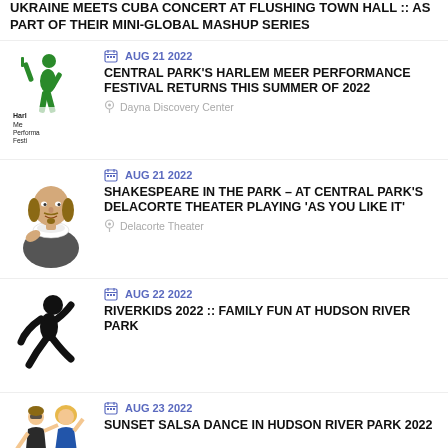UKRAINE MEETS CUBA CONCERT AT FLUSHING TOWN HALL :: AS PART OF THEIR MINI-GLOBAL MASHUP SERIES
[Figure (illustration): Harlem Meer Performance Festival green dancer logo]
AUG 21 2022
CENTRAL PARK'S HARLEM MEER PERFORMANCE FESTIVAL RETURNS THIS SUMMER OF 2022
Dayna Discovery Center
[Figure (illustration): Shakespeare bust illustration]
AUG 21 2022
SHAKESPEARE IN THE PARK – AT CENTRAL PARK'S DELACORTE THEATER PLAYING 'AS YOU LIKE IT'
Delacorte Theater
[Figure (illustration): Black silhouette of a running child]
AUG 22 2022
RIVERKIDS 2022 :: FAMILY FUN AT HUDSON RIVER PARK
[Figure (illustration): Cartoon couple dancing salsa]
AUG 23 2022
SUNSET SALSA DANCE IN HUDSON RIVER PARK 2022